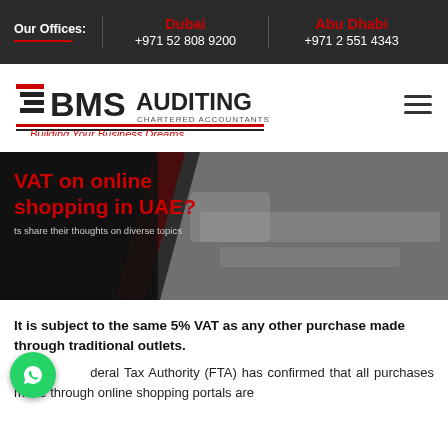Our Offices: | Dubai +971 52 808 9200 | Abu Dhabi +971 2 551 4343
[Figure (logo): BMS Auditing Chartered Accountants logo with tagline 'Building Your Business Dreams']
[Figure (photo): Banner image showing VAT on online shopping in UAE with hands on keyboard in grayscale background and red text overlay]
VAT on online shopping in UAE?
ts share their thoughts on diverse topics
It is subject to the same 5% VAT as any other purchase made through traditional outlets.
The Federal Tax Authority (FTA) has confirmed that all purchases made through online shopping portals are